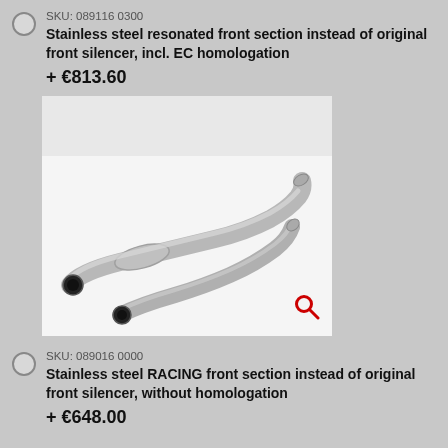SKU: 089116 0300
Stainless steel resonated front section instead of original front silencer, incl. EC homologation
+ €813.60
[Figure (photo): Two stainless steel exhaust front section pipes, curved, with dark open ends, shown on white background]
SKU: 089016 0000
Stainless steel RACING front section instead of original front silencer, without homologation
+ €648.00